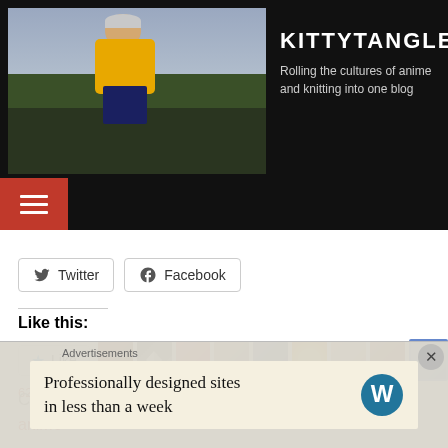[Figure (photo): Blog header banner with dark background. Left side shows a photo of a person wearing a yellow jacket outdoors with trees in background. Right side shows blog title 'KITTYTANGLED' and tagline.]
KITTYTANGLED
Rolling the cultures of anime and knitting into one blog
[Figure (screenshot): Navigation bar with hamburger menu icon on red background]
Twitter
Facebook
Like this:
62 bloggers like this.
CATEGORIES:
anime
Advertisements
Professionally designed sites in less than a week